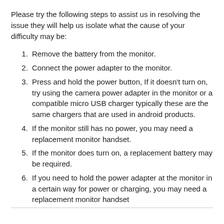Please try the following steps to assist us in resolving the issue they will help us isolate what the cause of your difficulty may be:
Remove the battery from the monitor.
Connect the power adapter to the monitor.
Press and hold the power button, If it doesn't turn on, try using the camera power adapter in the monitor or a compatible micro USB charger typically these are the same chargers that are used in android products.
If the monitor still has no power, you may need a replacement monitor handset.
If the monitor does turn on, a replacement battery may be required.
If you need to hold the power adapter at the monitor in a certain way for power or charging, you may need a replacement monitor handset